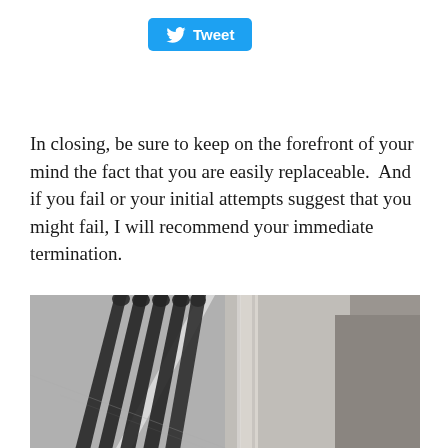[Figure (other): Twitter 'Tweet' button with bird logo in blue]
In closing, be sure to keep on the forefront of your mind the fact that you are easily replaceable.  And if you fail or your initial attempts suggest that you might fail, I will recommend your immediate termination.
[Figure (photo): Black and white photograph of long shadows of people cast on a road/pavement beside a curb]